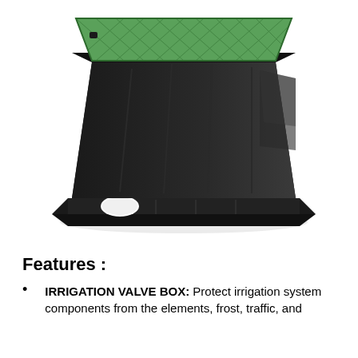[Figure (photo): Irrigation valve box with a green textured lid and black rectangular body with a wide flat base. The box has an opening/cutout on the lower front side.]
Features :
IRRIGATION VALVE BOX: Protect irrigation system components from the elements, frost, traffic, and...